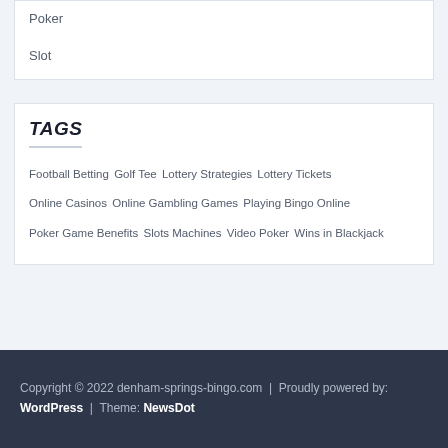Poker
Slot
TAGS
Football Betting  Golf Tee  Lottery Strategies  Lottery Tickets  Online Casinos  Online Gambling Games  Playing Bingo Online  Poker Game Benefits  Slots Machines  Video Poker  Wins in Blackjack
Copyright © 2022 denham-springs-bingo.com  |  Proudly powered by: WordPress  |  Theme: NewsDot